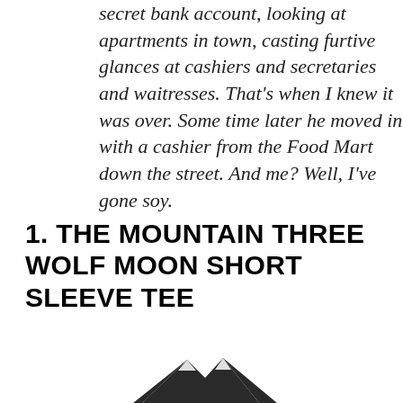secret bank account, looking at apartments in town, casting furtive glances at cashiers and secretaries and waitresses. That's when I knew it was over. Some time later he moved in with a cashier from the Food Mart down the street. And me? Well, I've gone soy.
1. THE MOUNTAIN THREE WOLF MOON SHORT SLEEVE TEE
[Figure (illustration): Partial illustration of mountain peaks (silhouette), bottom portion of image, dark grey/black against white background]